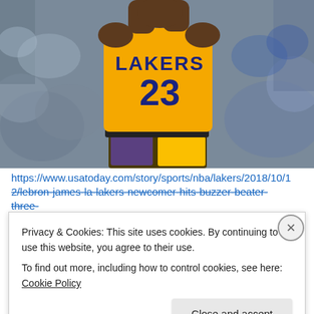[Figure (photo): Basketball player wearing a yellow Los Angeles Lakers jersey number 23, jumping mid-air with arms raised. Crowd visible in blurred background.]
https://www.usatoday.com/story/sports/nba/lakers/2018/10/1
2/lebron-james-la-lakers-newcomer-hits-buzzer-beater-three-
Privacy & Cookies: This site uses cookies. By continuing to use this website, you agree to their use.
To find out more, including how to control cookies, see here: Cookie Policy
Close and accept